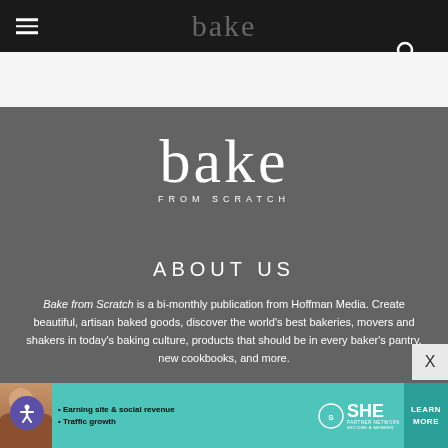bake FROM SCRATCH
[Figure (logo): Bake from Scratch logo in white text on dark gray background, large serif font with 'FROM SCRATCH' subtitle]
ABOUT US
Bake from Scratch is a bi-monthly publication from Hoffman Media. Create beautiful, artisan baked goods, discover the world's best bakeries, movers and shakers in today's baking culture, products that should be in every baker's pantry, new cookbooks, and more.
[Figure (infographic): SHE Partner Network advertisement banner with teal background, bullet points: Earning site & social revenue, Traffic growth, SHE logo, LEARN MORE button]